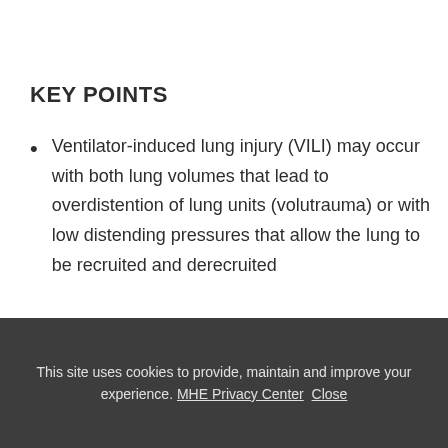KEY POINTS
Ventilator-induced lung injury (VILI) may occur with both lung volumes that lead to overdistention of lung units (volutrauma) or with low distending pressures that allow the lung to be recruited and derecruited
This site uses cookies to provide, maintain and improve your experience. MHE Privacy Center  Close